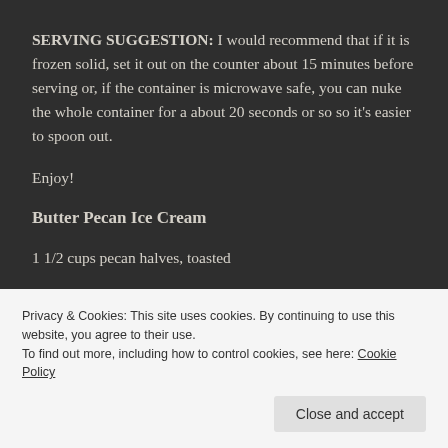SERVING SUGGESTION: I would recommend that if it is frozen solid, set it out on the counter about 15 minutes before serving or, if the container is microwave safe, you can nuke the whole container for a about 20 seconds or so so it's easier to spoon out.
Enjoy!
Butter Pecan Ice Cream
1 1/2 cups pecan halves, toasted
Privacy & Cookies: This site uses cookies. By continuing to use this website, you agree to their use.
To find out more, including how to control cookies, see here: Cookie Policy
Close and accept